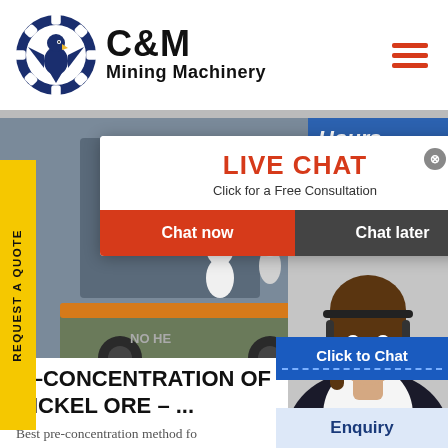[Figure (logo): C&M Mining Machinery logo with eagle/gear icon in navy blue circle, brand name C&M in bold black, Mining Machinery in smaller bold black text]
[Figure (photo): Hero banner with industrial mining equipment and workers in yellow hard hats in a factory setting]
[Figure (infographic): Live chat popup overlay with red LIVE CHAT heading, Click for a Free Consultation text, Chat now (red) and Chat later (dark) buttons, close X button, Hours online blue panel, headset customer service woman photo, Click to Chat blue button, Enquiry section]
E-CONCENTRATION OF NICKEL ORE - ...
Best pre-concentration method fo...